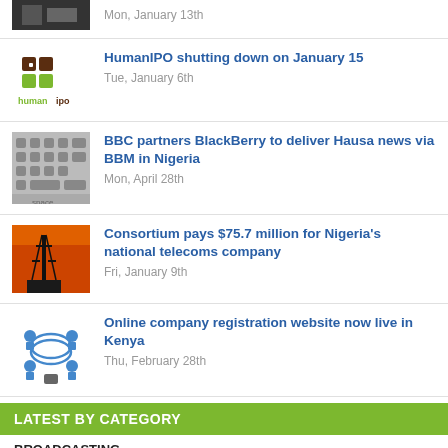[Figure (photo): Partial news item thumbnail at top - dark image of machinery/server]
Mon, January 13th
[Figure (logo): HumanIPO logo - puzzle piece hash with humanipo text]
HumanIPO shutting down on January 15
Tue, January 6th
[Figure (photo): Keyboard keys close-up photo]
BBC partners BlackBerry to deliver Hausa news via BBM in Nigeria
Mon, April 28th
[Figure (photo): Telecom tower silhouette against orange/red sunset sky]
Consortium pays $75.7 million for Nigeria's national telecoms company
Fri, January 9th
[Figure (illustration): Network/internet illustration with blue connected devices]
Online company registration website now live in Kenya
Thu, February 28th
LATEST BY CATEGORY
BROADCASTING